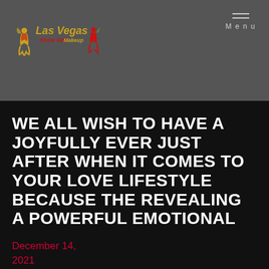[Figure (logo): Las Vegas Show Girl Makeup logo with stylized text and silhouette figures on dark grey header bar]
WE ALL WISH TO HAVE A JOYFULLY EVER JUST AFTER WHEN IT COMES TO YOUR LOVE LIFESTYLE BECAUSE THE REVEALING A POWERFUL EMOTIONAL
December 14, 2021